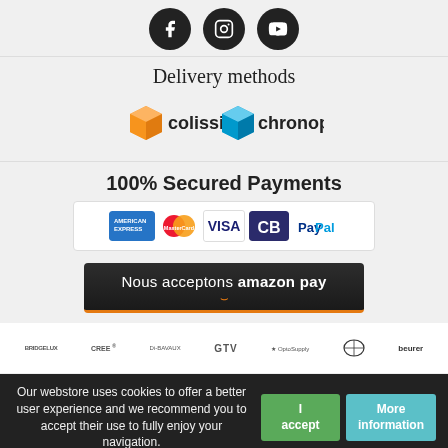[Figure (logo): Social media icons: Facebook, Instagram, YouTube — circular black buttons]
Delivery methods
[Figure (logo): Colissimo and Chronopost delivery logos]
100% Secured Payments
[Figure (logo): Payment method logos: American Express, MasterCard, VISA, CB, PayPal in white box]
[Figure (infographic): Dark banner: Nous acceptons amazon pay with orange smile underline]
[Figure (logo): Brand logos bar: Bridgelux, CREE, Di-Bavaux, GTV, OptoSupply, Philips, Beurer]
Our webstore uses cookies to offer a better user experience and we recommend you to accept their use to fully enjoy your navigation.